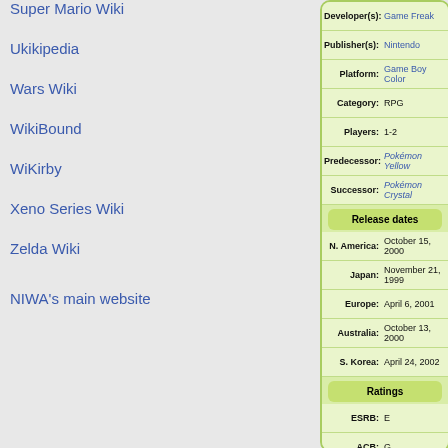Super Mario Wiki
Ukikipedia
Wars Wiki
WikiBound
WiKirby
Xeno Series Wiki
Zelda Wiki
NIWA's main website
| Field | Value |
| --- | --- |
| Developer(s): | Game Freak |
| Publisher(s): | Nintendo |
| Platform: | Game Boy Color |
| Category: | RPG |
| Players: | 1-2 |
| Predecessor: | Pokémon Yellow |
| Successor: | Pokémon Crystal |
| Release dates |  |
| N. America: | October 15, 2000 |
| Japan: | November 21, 1999 |
| Europe: | April 6, 2001 |
| Australia: | October 13, 2000 |
| S. Korea: | April 24, 2002 |
| Ratings |  |
| ESRB: | E |
| ACB: | G |
| Bulbapedia has more information on this game: | Read it now! |